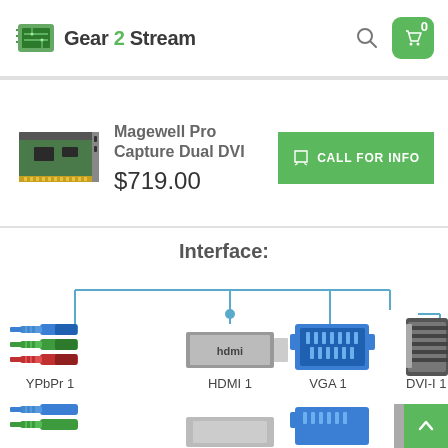[Figure (logo): Gear 2 Stream logo with green circuit board icon]
Gear 2 Stream
[Figure (screenshot): Navigation bar with search icon, shopping cart button showing 0, and hamburger menu icon]
[Figure (photo): Magewell Pro Capture Dual DVI PCIe card product image]
Magewell Pro Capture Dual DVI
$719.00
CALL FOR INFO
Interface:
[Figure (schematic): Interface diagram showing connectors: YPbPr 1 (component, blue/green/red), HDMI 1, VGA 1, DVI-I 1, and partial second row of connectors at bottom]